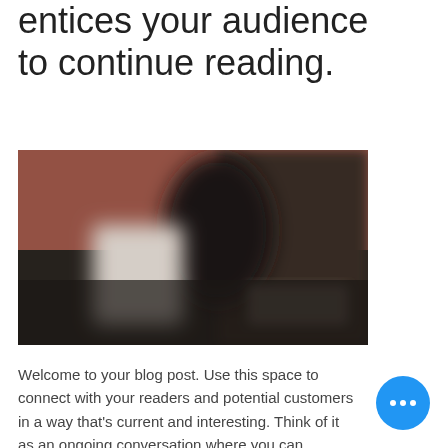entices your audience to continue reading.
[Figure (photo): A blurred photograph showing objects on a dark desk surface with a reddish-brown wall in the background, including what appears to be a white rectangular object and a laptop or book.]
Welcome to your blog post. Use this space to connect with your readers and potential customers in a way that's current and interesting. Think of it as an ongoing conversation where you can